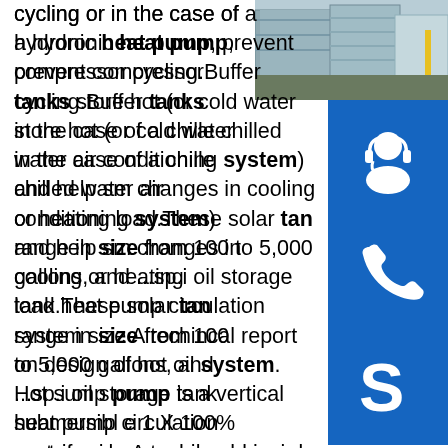cycling or in the case of a hydronic heat pump, prevent compressor cycling.Buffer tanks store hot (or cold water in the case of a chilled water air conditioning system) and help smooth changes in cooling or heating load.These solar tanks range in size from 100 to 5,000 gallons, and ...sp.info oil storage tank heat pump circulation system size A techincal report on design of hot oil system. Hot sump pump is a vertical submersibl e 1 X 100% centrifugal pump placed insi de the hot oil drain drum case, hot oil storage tank is not in the scope of the the sump pump can be10 Tips Hot Oil Systems 2004-09-01 Process HeatingSep 01, 2004When preparing a fluid sample to send out for analysis, take the sample from a live ...sp.info US5233970A - Semi-instantaneous water heater with helical ...A semi-instantaneous water heater is disclosed. The water heater generates domestic hot water by transferring heat from the circulating fluid of a
[Figure (photo): Industrial facility with large tanks or containers visible]
[Figure (illustration): Headset/customer support icon in blue square]
[Figure (illustration): Phone/call icon in blue square]
[Figure (illustration): Skype icon in blue square]